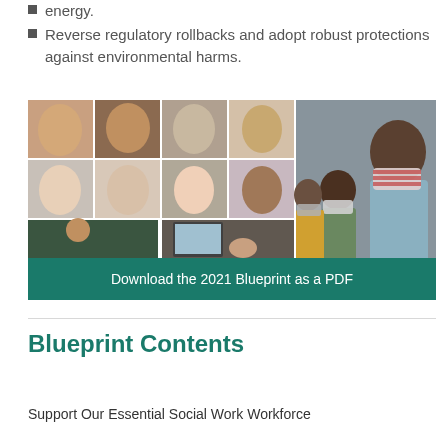energy.
Reverse regulatory rollbacks and adopt robust protections against environmental harms.
[Figure (photo): Photo collage of diverse people on the left (grid of faces) and people wearing face masks on the right, with a teal download button bar reading 'Download the 2021 Blueprint as a PDF']
Blueprint Contents
Support Our Essential Social Work Workforce